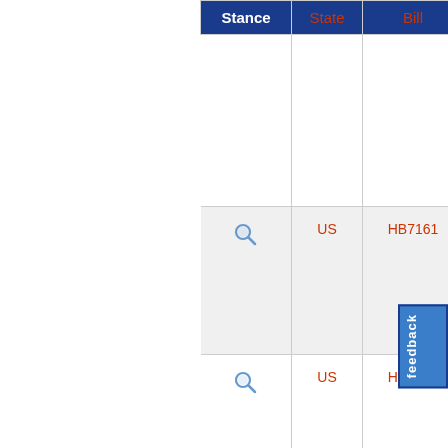| Stance | State | Bill | Sta... |
| --- | --- | --- | --- |
|  |  |  |  |
| 🔍 | US | HB7161 | Intr... 25%... |
| 🔍 | US | HB6953 | Intr... 25%... |
| 🔍 | US | HB6999 | 25%... |